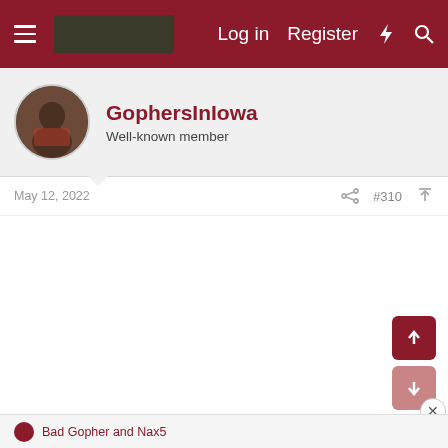Log in  Register
GophersInIowa
Well-known member
May 12, 2022
#310
Bad Gopher and Nax5